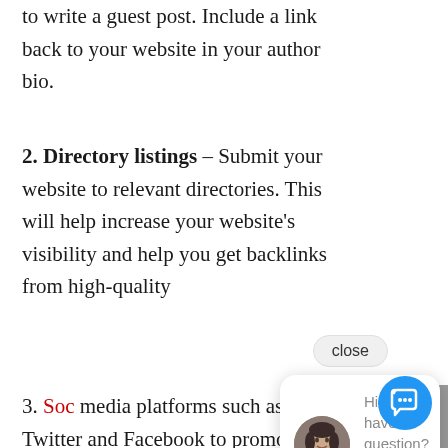to write a guest post. Include a link back to your website in your author bio.
2. Directory listings – Submit your website to relevant directories. This will help increase your website's visibility and help you get backlinks from high-quality
3. Soc media platforms such as Twitter and Facebook to promote your website and build links. Share
[Figure (screenshot): Chat widget overlay with close button, avatar of a woman, and text 'Hi there, have a question? Text us here.' with a blue chat icon button.]